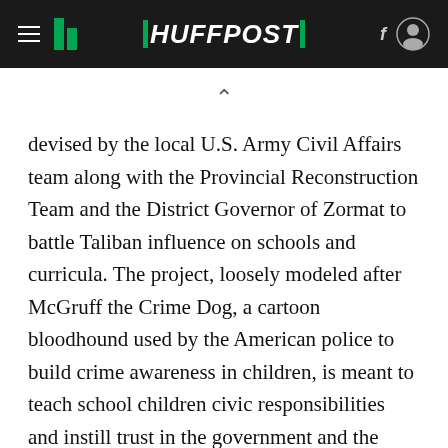HUFFPOST
devised by the local U.S. Army Civil Affairs team along with the Provincial Reconstruction Team and the District Governor of Zormat to battle Taliban influence on schools and curricula. The project, loosely modeled after McGruff the Crime Dog, a cartoon bloodhound used by the American police to build crime awareness in children, is meant to teach school children civic responsibilities and instill trust in the government and the police. Because of the program, Ganat Kahiyl High School heard Abdul Wahab, a District Chief of Police, publicly talk to the school children for the first time. "If you want to build trust...